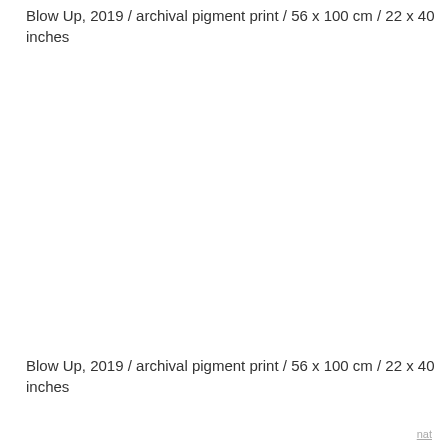Blow Up, 2019 / archival pigment print / 56 x 100 cm / 22 x 40 inches
Blow Up, 2019 / archival pigment print / 56 x 100 cm / 22 x 40 inches
nat